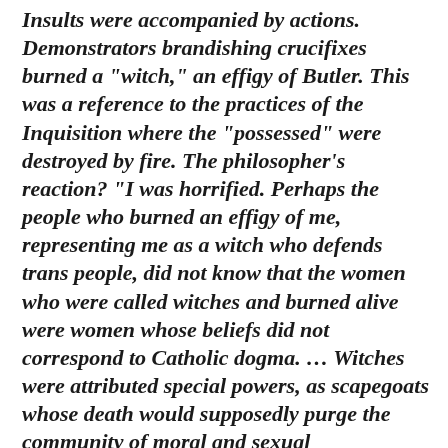Insults were accompanied by actions. Demonstrators brandishing crucifixes burned a "witch," an effigy of Butler. This was a reference to the practices of the Inquisition where the "possessed" were destroyed by fire. The philosopher's reaction? "I was horrified. Perhaps the people who burned an effigy of me, representing me as a witch who defends trans people, did not know that the women who were called witches and burned alive were women whose beliefs did not correspond to Catholic dogma. … Witches were attributed special powers, as scapegoats whose death would supposedly purge the community of moral and sexual corruption."